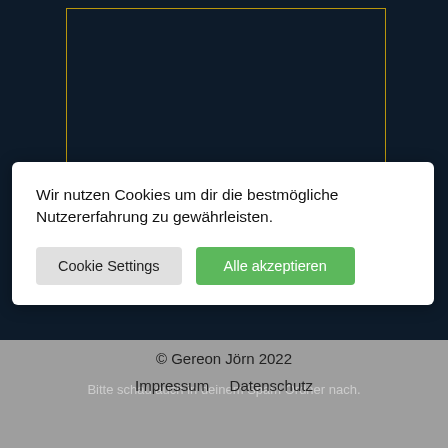[Figure (screenshot): Dark navy background with a golden-bordered rectangular box]
Wir nutzen Cookies um dir die bestmögliche Nutzererfahrung zu gewährleisten.
Cookie Settings
Alle akzeptieren
Bitte schau auch in deinem Spam Ordner nach.
© Gereon Jörn 2022
Impressum   Datenschutz